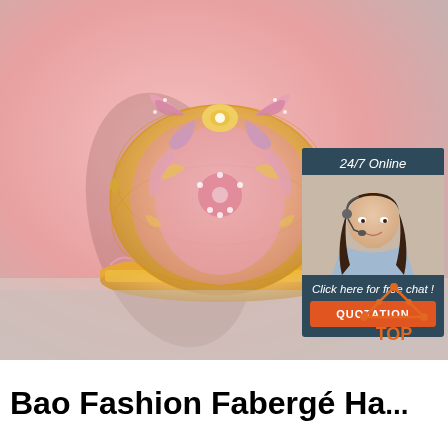[Figure (photo): Ornate pink and gold filigree jewelry/trinket box with bow on top, on a pink background]
[Figure (infographic): 24/7 Online chat widget with agent photo, 'Click here for free chat!' text, and orange QUOTATION button]
[Figure (infographic): Orange TOP button with house/triangle icon with dots]
Bao Fashion Fabergé Ha...